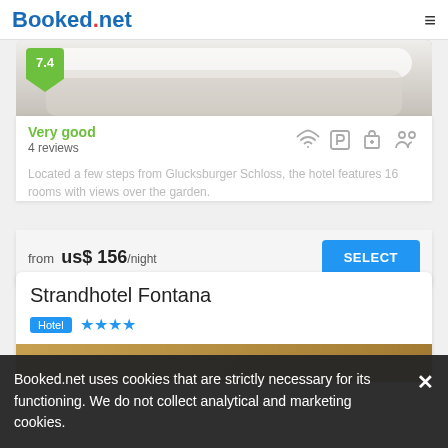Booked.net
[Figure (photo): Hotel room photo with white bedding, partially visible]
Very good
4 reviews
Located a few steps from Glucksburger Schloss, the hotel features 16 rooms with views over the garden.
from us$ 156/night
SELECT
Strandhotel Fontana
Hotel ★★★★
[Figure (photo): Hotel exterior or room photo, partially cut off]
Booked.net uses cookies that are strictly necessary for its functioning. We do not collect analytical and marketing cookies.